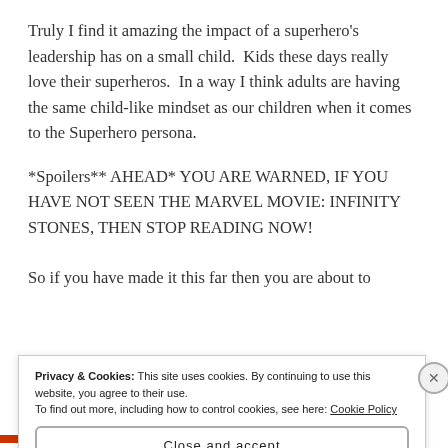Truly I find it amazing the impact of a superhero's leadership has on a small child.  Kids these days really love their superheros.  In a way I think adults are having the same child-like mindset as our children when it comes to the Superhero persona.
*Spoilers** AHEAD* YOU ARE WARNED, IF YOU HAVE NOT SEEN THE MARVEL MOVIE: INFINITY STONES, THEN STOP READING NOW!
So if you have made it this far then you are about to
Privacy & Cookies: This site uses cookies. By continuing to use this website, you agree to their use.
To find out more, including how to control cookies, see here: Cookie Policy
Close and accept